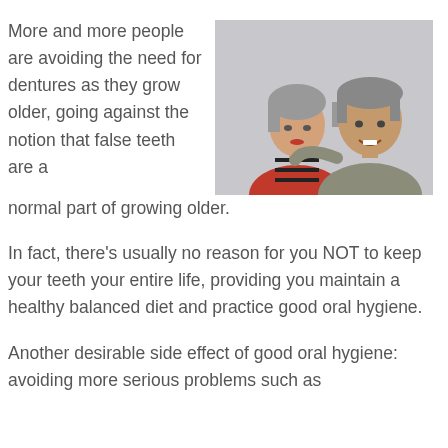More and more people are avoiding the need for dentures as they grow older, going against the notion that false teeth are a normal part of growing older.
[Figure (photo): An older couple smiling together. The woman is wearing a red striped shirt and the man is wearing a gray polo shirt.]
In fact, there's usually no reason for you NOT to keep your teeth your entire life, providing you maintain a healthy balanced diet and practice good oral hygiene.
Another desirable side effect of good oral hygiene: avoiding more serious problems such as